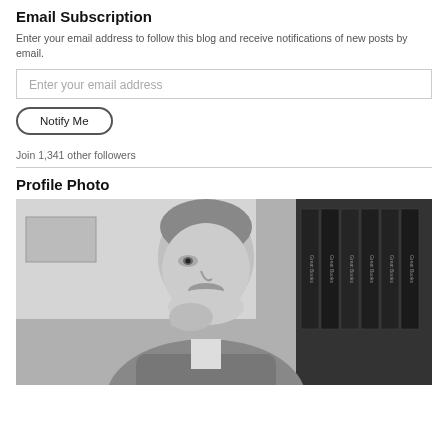Email Subscription
Enter your email address to follow this blog and receive notifications of new posts by email.
Enter your email address
Notify Me
Join 1,341 other followers
Profile Photo
[Figure (photo): Black and white photo of a middle-aged man with grey hair and a goatee, resting his chin on his hand, with a row of 'Great Books' volumes visible on a bookshelf behind him.]